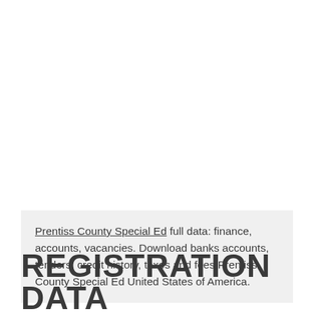Prentiss County Special Ed full data: finance, accounts, vacancies. Download banks accounts, tenders, credit history, taxes and fees Prentiss County Special Ed United States of America.
REGISTRATION DATA